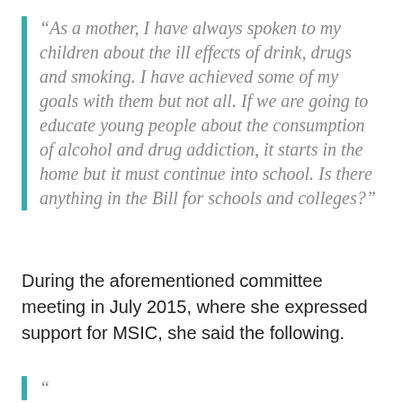“As a mother, I have always spoken to my children about the ill effects of drink, drugs and smoking. I have achieved some of my goals with them but not all. If we are going to educate young people about the consumption of alcohol and drug addiction, it starts in the home but it must continue into school. Is there anything in the Bill for schools and colleges?”
During the aforementioned committee meeting in July 2015, where she expressed support for MSIC, she said the following.
“...